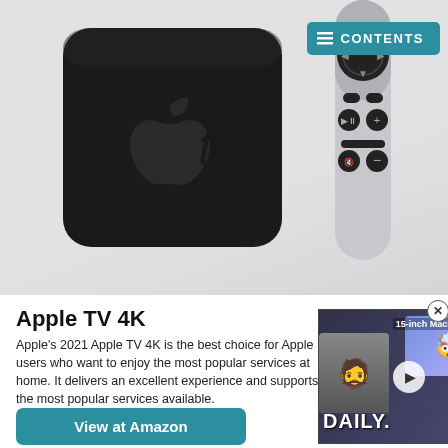[Figure (photo): Apple TV 4K device (black square box with Apple logo and 'tv' text) and Siri Remote (silver/white remote with circular touchpad and control buttons)]
Apple TV 4K
Apple's 2021 Apple TV 4K is the best choice for Apple users who want to enjoy the most popular services at home. It delivers an excellent experience and supports the most popular services available.
[Figure (screenshot): Video thumbnail showing a person with text '15-inch MacBook Air?' and 'DAILY.' overlay with a play button]
View at Amazon